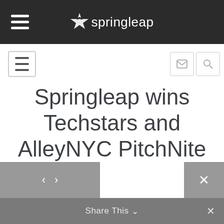springleap
Springleap wins Techstars and AlleyNYC PitchNite
Share This